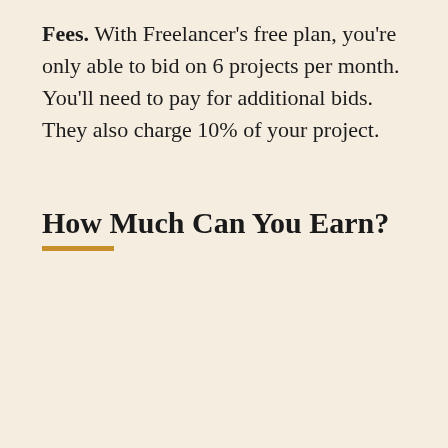Fees. With Freelancer's free plan, you're only able to bid on 6 projects per month. You'll need to pay for additional bids. They also charge 10% of your project.
How Much Can You Earn?